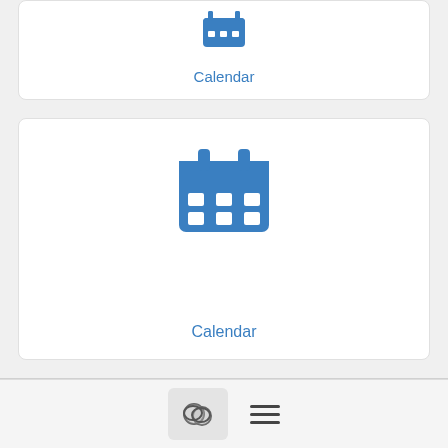[Figure (screenshot): Partial calendar card at top of page with blue calendar icon and 'Calendar' label]
[Figure (screenshot): Full calendar card with blue calendar icon and 'Calendar' label]
≡ More
Re: Shot luts and different monitor calibrations
Simon Björk  11/25/20
[Figure (screenshot): Bottom navigation bar with chat icon button and hamburger menu lines]